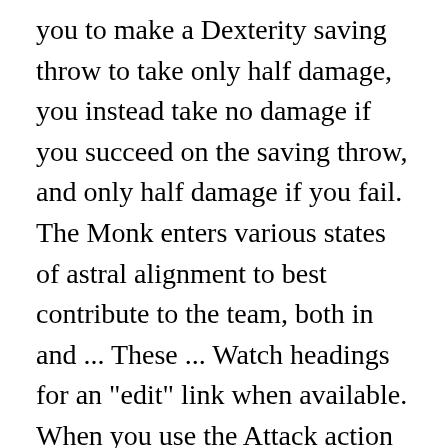you to make a Dexterity saving throw to take only half damage, you instead take no damage if you succeed on the saving throw, and only half damage if you fail. The Monk enters various states of astral alignment to best contribute to the team, both in and ... These ... Watch headings for an "edit" link when available. When you use the Attack action with an unarmed strike or a monk weapon on your turn, you can make one unarmed strike as a bonus action. The chosen weapon must meet these criteria: When you reach 3rd level, you commit yourself to a monastic tradition. When you hit another creature with a melee weapon attack, you can spend 1 ki point to attempt a stunning strike. At 10th level, your mastery of